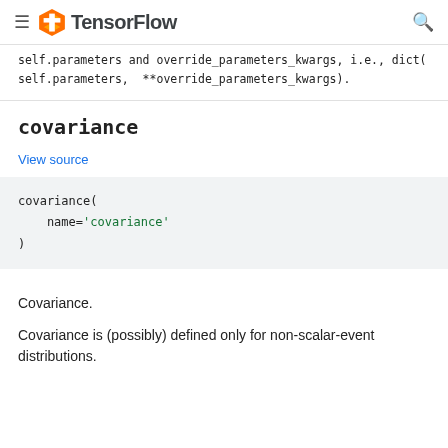TensorFlow
self.parameters and override_parameters_kwargs, i.e., dict(self.parameters, **override_parameters_kwargs).
covariance
View source
covariance(
    name='covariance'
)
Covariance.
Covariance is (possibly) defined only for non-scalar-event distributions.